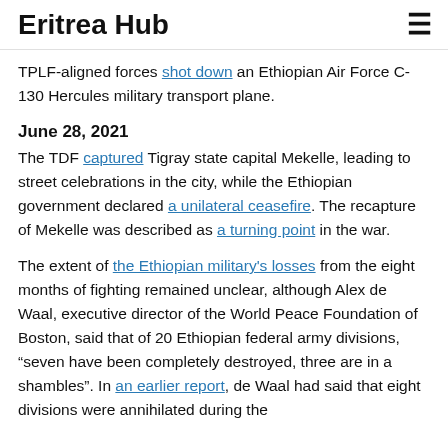Eritrea Hub
TPLF-aligned forces shot down an Ethiopian Air Force C-130 Hercules military transport plane.
June 28, 2021
The TDF captured Tigray state capital Mekelle, leading to street celebrations in the city, while the Ethiopian government declared a unilateral ceasefire. The recapture of Mekelle was described as a turning point in the war.
The extent of the Ethiopian military's losses from the eight months of fighting remained unclear, although Alex de Waal, executive director of the World Peace Foundation of Boston, said that of 20 Ethiopian federal army divisions, “seven have been completely destroyed, three are in a shambles”. In an earlier report, de Waal had said that eight divisions were annihilated during the